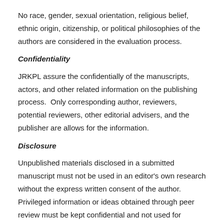No race, gender, sexual orientation, religious belief, ethnic origin, citizenship, or political philosophies of the authors are considered in the evaluation process.
Confidentiality
JRKPL assure the confidentially of the manuscripts, actors, and other related information on the publishing process.  Only corresponding author, reviewers, potential reviewers, other editorial advisers, and the publisher are allows for the information.
Disclosure
Unpublished materials disclosed in a submitted manuscript must not be used in an editor's own research without the express written consent of the author. Privileged information or ideas obtained through peer review must be kept confidential and not used for personal advantage.